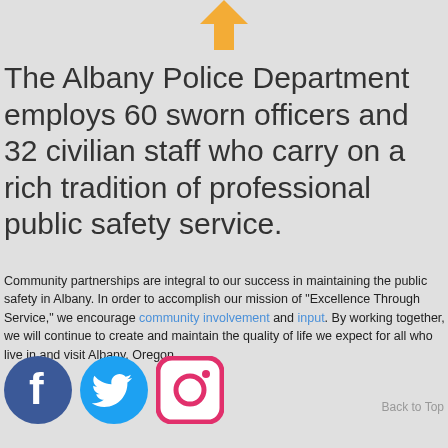[Figure (other): Gold/yellow downward-pointing location pin arrow at top center, part of a map graphic]
The Albany Police Department employs 60 sworn officers and 32 civilian staff who carry on a rich tradition of professional public safety service.
Community partnerships are integral to our success in maintaining the public safety in Albany. In order to accomplish our mission of "Excellence Through Service," we encourage community involvement and input. By working together, we will continue to create and maintain the quality of life we expect for all who live in and visit Albany, Oregon.
[Figure (logo): Facebook, Twitter, and Instagram social media icons]
Back to Top